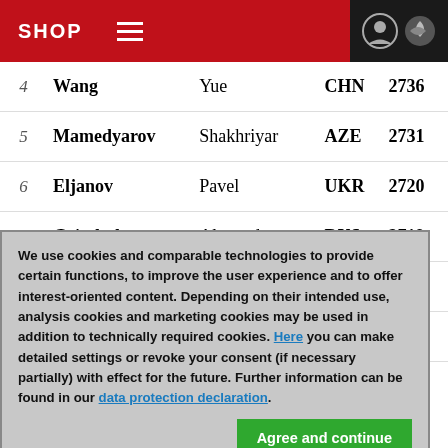SHOP
| # | Last Name | First Name | Country | Rating |
| --- | --- | --- | --- | --- |
| 4 | Wang | Yue | CHN | 2736 |
| 5 | Mamedyarov | Shakhriyar | AZE | 2731 |
| 6 | Eljanov | Pavel | UKR | 2720 |
| 7 | Grischuk | Alexander | RUS | 2719 |
| 8 | Alekseev | Evgeny | RUS | 2715 |
| 9 | Bacrot | Etienne | FRA | 2705 |
We use cookies and comparable technologies to provide certain functions, to improve the user experience and to offer interest-oriented content. Depending on their intended use, analysis cookies and marketing cookies may be used in addition to technically required cookies. Here you can make detailed settings or revoke your consent (if necessary partially) with effect for the future. Further information can be found in our data protection declaration.